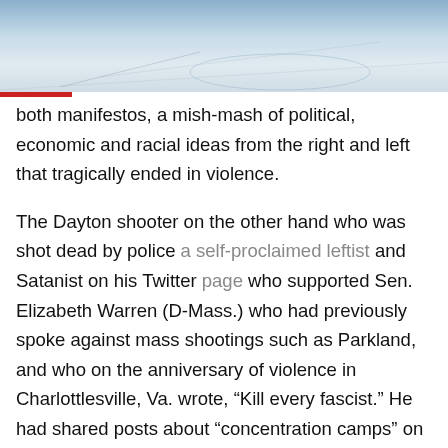[Figure (photo): Top portion of a news article page showing a photo of what appears to be an ice rink or arena surface from above, tinted blue-grey.]
both manifestos, a mish-mash of political, economic and racial ideas from the right and left that tragically ended in violence.

The Dayton shooter on the other hand who was shot dead by police a self-proclaimed leftist and Satanist on his Twitter page who supported Sen. Elizabeth Warren (D-Mass.) who had previously spoke against mass shootings such as Parkland, and who on the anniversary of violence in Charlottlesville, Va. wrote, “Kill every fascist.” He had shared posts about “concentration camps” on the border and wrote, “Cut the fences down. Slice